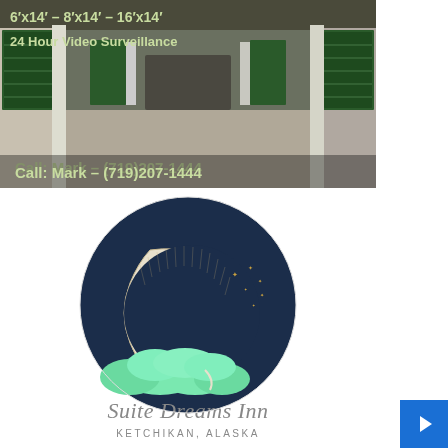[Figure (photo): Storage unit advertisement photo showing hallway of green storage unit doors with text overlay: '6'x14' – 8'x14' – 16'x14' / 24 Hour Video Surveillance / Call: Mark – (719)207-1444']
[Figure (logo): Suite Dreams Inn logo — dark navy circle with crescent moon illustration, mint green clouds, and gold/white stars. Script text 'Suite Dreams Inn' below with 'KETCHIKAN, ALASKA' in spaced caps.]